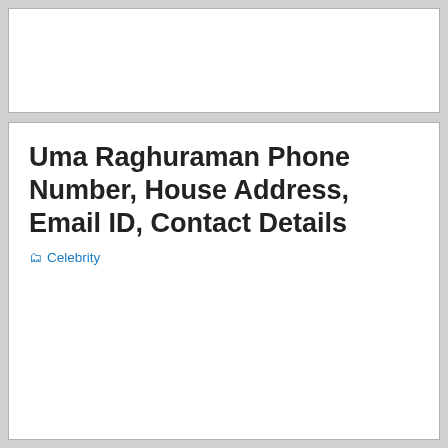Uma Raghuraman Phone Number, House Address, Email ID, Contact Details
Celebrity